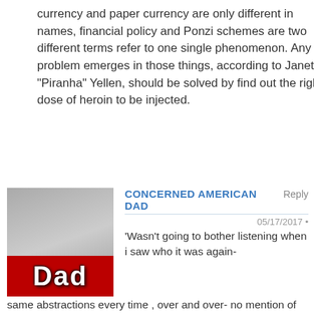currency and paper currency are only different in names, financial policy and Ponzi schemes are two different terms refer to one single phenomenon. Any problem emerges in those things, according to Janet “Piranha” Yellen, should be solved by find out the right dose of heroin to be injected.
CONCERNED AMERICAN DAD | Reply | 05/17/2017 • | ‘Wasn’t going to bother listening when i saw who it was again- same abstractions every time , over and over- no mention of the latest decelopments with the Silk Road initiatives- looks like maybe you should try to get your commentor Jerry on as a guest- way more insight in the comments lately
Greg Hunter | 05/17/2017 • | Reply | Dad, | Maybe you should start you own site and run it the way you like!